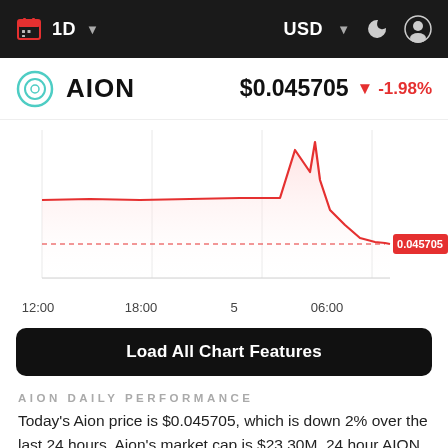1D  USD
AION  $0.045705  -1.98%
[Figure (line-chart): AION 1D Price Chart]
Load All Chart Features
AION DAILY PERFORMANCE
Today's Aion price is $0.045705, which is down 2% over the last 24 hours. Aion's market cap is $23.30M. 24 hour AION volume is $732,292. It has a market cap rank of 425 with a circulating supply of 509,700,860